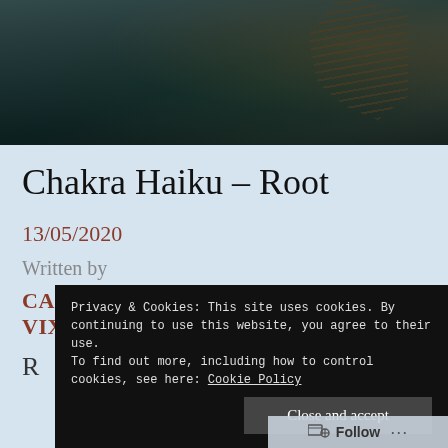[Figure (photo): Dark moody photograph of water and tangled bare branches/roots with a dark teal and brown toned nature scene]
Chakra Haiku – Root
13/05/2020
Written by
CAROLYN CROSSLEY VIXENOFVERSE
R
Privacy & Cookies: This site uses cookies. By continuing to use this website, you agree to their use.
To find out more, including how to control cookies, see here: Cookie Policy
Close and accept